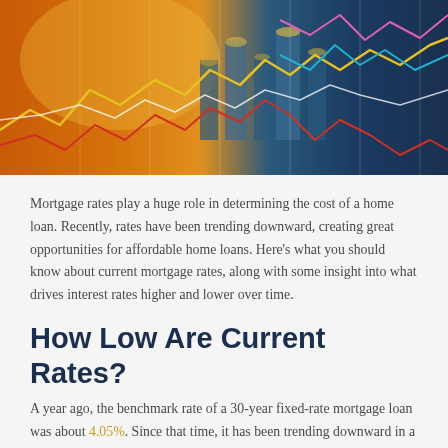[Figure (photo): Financial photo showing stacks of coins with overlaid colorful line charts (yellow, red, white, pink lines) against a warm orange sunset background on the left and a blue cityscape/financial data background on the right.]
Mortgage rates play a huge role in determining the cost of a home loan. Recently, rates have been trending downward, creating great opportunities for affordable home loans. Here's what you should know about current mortgage rates, along with some insight into what drives interest rates higher and lower over time.
How Low Are Current Rates?
A year ago, the benchmark rate of a 30-year fixed-rate mortgage loan was about 4.05%. Since that time, it has been trending downward in a big way. As we head into the third and fourth